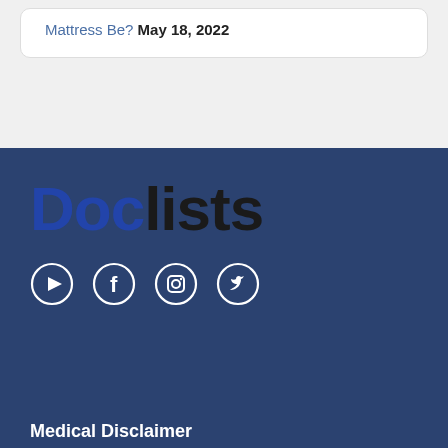Mattress Be? May 18, 2022
[Figure (logo): Doclists logo with 'Doc' in blue and 'lists' in dark/black bold text]
[Figure (other): Social media icons: YouTube, Facebook, Instagram, Twitter — white outlined circles on dark blue background]
Medical Disclaimer